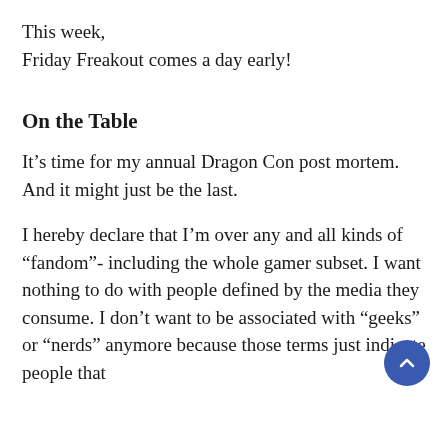This week,
Friday Freakout comes a day early!
On the Table
It’s time for my annual Dragon Con post mortem. And it might just be the last.
I hereby declare that I’m over any and all kinds of “fandom”- including the whole gamer subset. I want nothing to do with people defined by the media they consume. I don’t want to be associated with “geeks” or “nerds” anymore because those terms just indicate people that